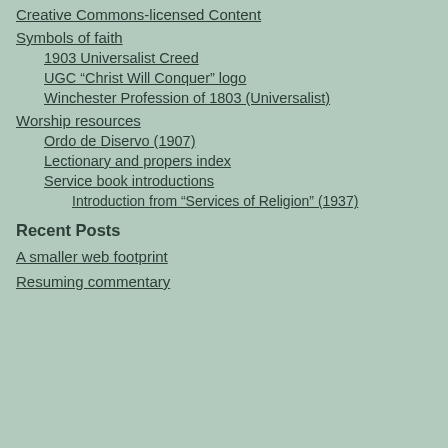Creative Commons-licensed Content
Symbols of faith
1903 Universalist Creed
UGC “Christ Will Conquer” logo
Winchester Profession of 1803 (Universalist)
Worship resources
Ordo de Diservo (1907)
Lectionary and propers index
Service book introductions
Introduction from “Services of Religion” (1937)
Recent Posts
A smaller web footprint
Resuming commentary